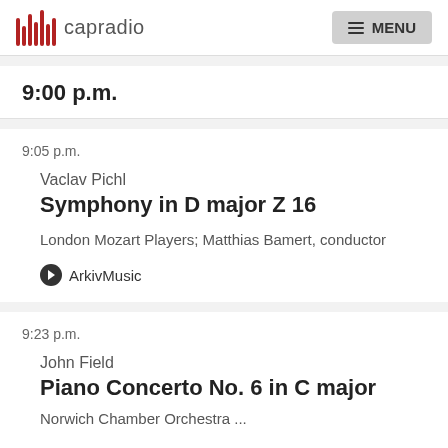capradio MENU
9:00 p.m.
9:05 p.m.
Vaclav Pichl
Symphony in D major Z 16
London Mozart Players; Matthias Bamert, conductor
ArkivMusic
9:23 p.m.
John Field
Piano Concerto No. 6 in C major